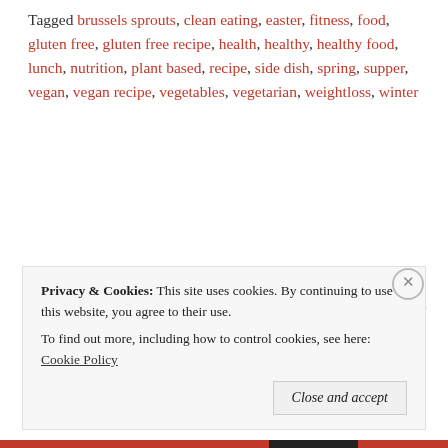Tagged brussels sprouts, clean eating, easter, fitness, food, gluten free, gluten free recipe, health, healthy, healthy food, lunch, nutrition, plant based, recipe, side dish, spring, supper, vegan, vegan recipe, vegetables, vegetarian, weightloss, winter
← Chocolate Lover's Oatmeal {Vegan, Gluten-free}
One-Bowl Double Chocolate Muffins →
Privacy & Cookies: This site uses cookies. By continuing to use this website, you agree to their use. To find out more, including how to control cookies, see here: Cookie Policy